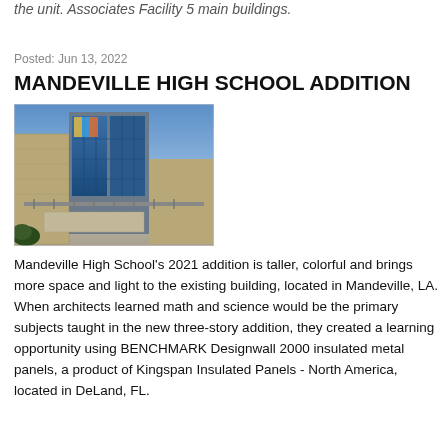the unit. Associates Facility 5 main buildings.
Posted: Jun 13, 2022
MANDEVILLE HIGH SCHOOL ADDITION
[Figure (photo): Exterior photo of Mandeville High School addition showing a modern multi-story building with metal panels, glass windows, and a walkway at dusk/blue hour lighting.]
Mandeville High School's 2021 addition is taller, colorful and brings more space and light to the existing building, located in Mandeville, LA. When architects learned math and science would be the primary subjects taught in the new three-story addition, they created a learning opportunity using BENCHMARK Designwall 2000 insulated metal panels, a product of Kingspan Insulated Panels - North America, located in DeLand, FL.